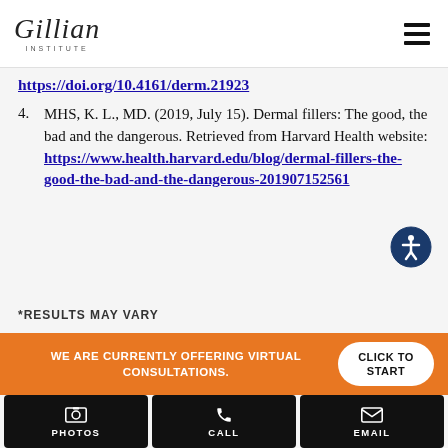Gillian Institute
https://doi.org/10.4161/derm.21923
4. MHS, K. L., MD. (2019, July 15). Dermal fillers: The good, the bad and the dangerous. Retrieved from Harvard Health website: https://www.health.harvard.edu/blog/dermal-fillers-the-good-the-bad-and-the-dangerous-201907152561
*RESULTS MAY VARY
WE ARE CURRENTLY OFFERING VIRTUAL CONSULTATIONS.
CLICK TO START
PHOTOS
CALL
EMAIL